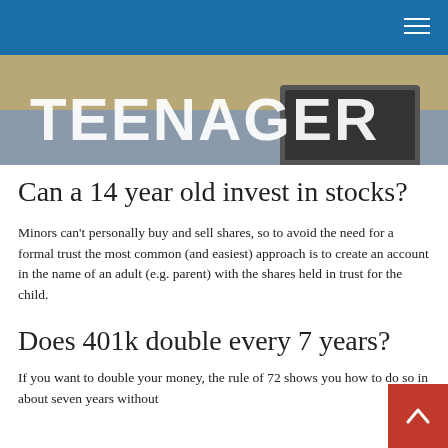[Figure (photo): Partial view of a banner/image showing the word 'TEENAGER' in large white block letters over a background with a laptop on a desk.]
Can a 14 year old invest in stocks?
Minors can't personally buy and sell shares, so to avoid the need for a formal trust the most common (and easiest) approach is to create an account in the name of an adult (e.g. parent) with the shares held in trust for the child.
Does 401k double every 7 years?
If you want to double your money, the rule of 72 shows you how to do so in about seven years without